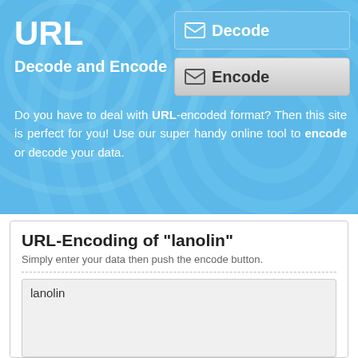URL
Decode and Encode
[Figure (illustration): Decode button with envelope icon, blue background]
[Figure (illustration): Encode button with envelope icon, grey background]
Do you have to deal with URL-encoded format? Then this site is perfect for you! Use our super handy online tool to encode or decode your data.
URL-Encoding of "lanolin"
Simply enter your data then push the encode button.
lanolin